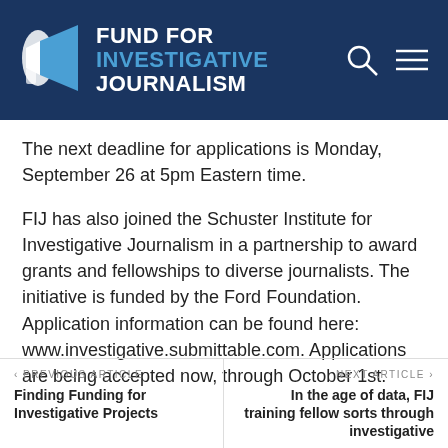FUND FOR INVESTIGATIVE JOURNALISM
The next deadline for applications is Monday, September 26 at 5pm Eastern time.
FIJ has also joined the Schuster Institute for Investigative Journalism in a partnership to award grants and fellowships to diverse journalists. The initiative is funded by the Ford Foundation. Application information can be found here: www.investigative.submittable.com. Applications are being accepted now, through October 1st.
< PREVIOUS ARTICLE | Finding Funding for Investigative Projects || NEXT ARTICLE > | In the age of data, FIJ training fellow sorts through investigative